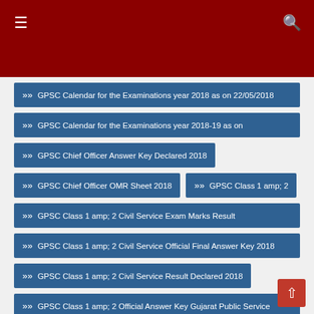[Figure (screenshot): Dark red navigation header bar with hamburger menu icon on left and search icon on right]
» GPSC Calendar for the Examinations year 2018 as on 22/05/2018
» GPSC Calendar for the Examinations year 2018-19 as on
» GPSC Chief Officer Answer Key Declared 2018
» GPSC Chief Officer OMR Sheet 2018
» GPSC Class 1 amp; 2
» GPSC Class 1 amp; 2 Civil Service Exam Marks Result
» GPSC Class 1 amp; 2 Civil Service Official Final Answer Key 2018
» GPSC Class 1 amp; 2 Civil Service Result Declared 2018
» GPSC Class 1 amp; 2 Official Answer Key Gujarat Public Service
» GPSC Class 1 amp; 2 OMR Sheet 2018
» GPSC Class 1-2 (Main) Exam Exam Marks Declared 2017-18
» GPSC Class 1-2 Recruitment 2018 for 249 Dy Collector / Dy. SP and
» GPSC Class 1-2 Syllabus GPSC Recruitment 2018